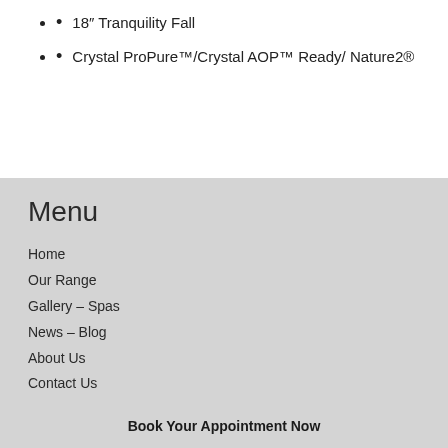18″ Tranquility Fall
Crystal ProPure™/Crystal AOP™ Ready/ Nature2®
Menu
Home
Our Range
Gallery – Spas
News – Blog
About Us
Contact Us
Book Your Appointment Now